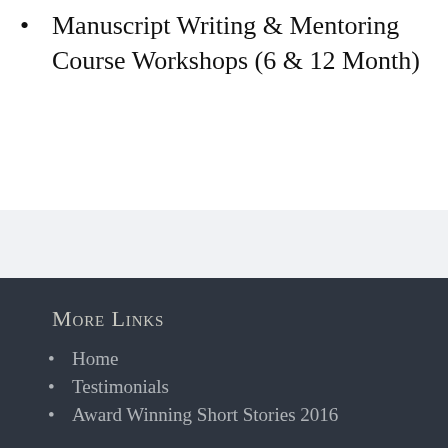Manuscript Writing & Mentoring Course Workshops (6 & 12 Month)
More Links
Home
Testimonials
Award Winning Short Stories 2016